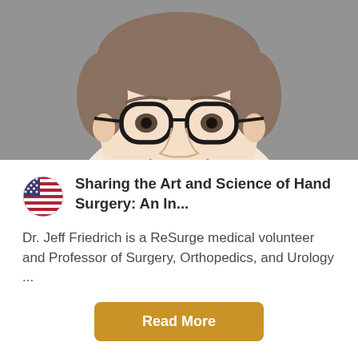[Figure (photo): Headshot of Dr. Jeff Friedrich, a smiling man with glasses wearing a dark blazer and white shirt, photographed against a gray background. The photo is cropped to show the face and upper chest.]
Sharing the Art and Science of Hand Surgery: An In...
Dr. Jeff Friedrich is a ReSurge medical volunteer and Professor of Surgery, Orthopedics, and Urology ...
Read More
[Figure (photo): Partial view of another photo at the bottom of the page, showing a person outdoors with a warm-toned background.]